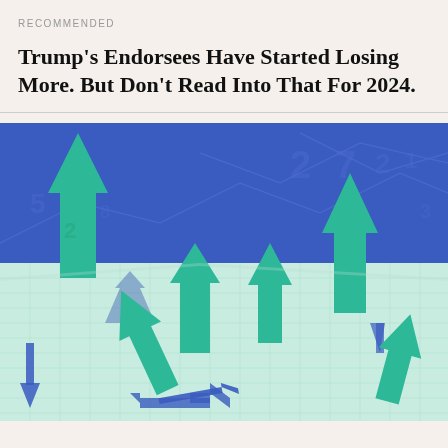RECOMMENDED
Trump's Endorsees Have Started Losing More. But Don't Read Into That For 2024.
[Figure (photo): Photograph showing multiple green and blue paper arrows pointing in various directions — some upward, some sideways, some fallen — arranged on a light teal grid surface against a dark blue background with faint chart lines and numbers.]